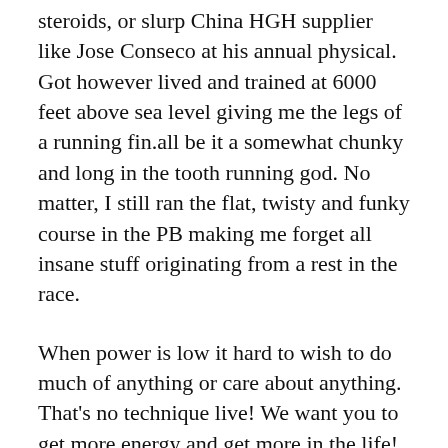steroids, or slurp China HGH supplier like Jose Conseco at his annual physical. Got however lived and trained at 6000 feet above sea level giving me the legs of a running fin.all be it a somewhat chunky and long in the tooth running god. No matter, I still ran the flat, twisty and funky course in the PB making me forget all insane stuff originating from a rest in the race.
When power is low it hard to wish to do much of anything or care about anything. That's no technique live! We want you to get more energy and get more in the life!
10 Pure skin care points a dermis Refreshing and healthful 1 Take an apple consistently the